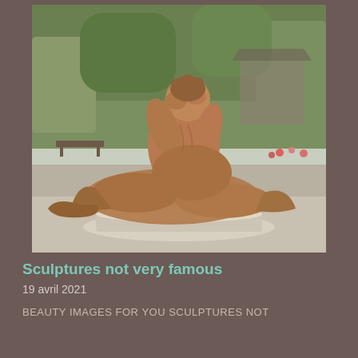[Figure (photo): A large terracotta or stone sculpture of two muscular male figures wrestling or struggling, displayed outdoors in a park or garden setting with green trees, a garden pavilion, and flowering plants in the background. The sculpture sits on a white pedestal.]
Sculptures not very famous
19 avril 2021
BEAUTY IMAGES FOR YOU Sculptures not